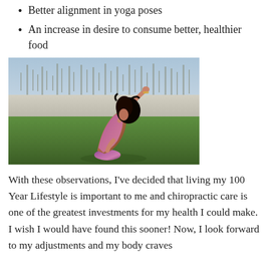Better alignment in yoga poses
An increase in desire to consume better, healthier food
[Figure (photo): A woman in colorful yoga attire performing a kneeling backbend pose on grass outdoors, with trees and a wall visible in the background.]
With these observations, I've decided that living my 100 Year Lifestyle is important to me and chiropractic care is one of the greatest investments for my health I could make. I wish I would have found this sooner! Now, I look forward to my adjustments and my body craves continuous alignment and health.